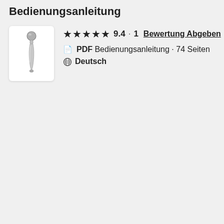Bedienungsanleitung
[Figure (photo): Thumbnail image of a small device (appears to be a roller or pin-type tool) on a white background]
★★★★★ 9.4 · 1  Bewertung Abgeben
PDF Bedienungsanleitung · 74 Seiten
Deutsch